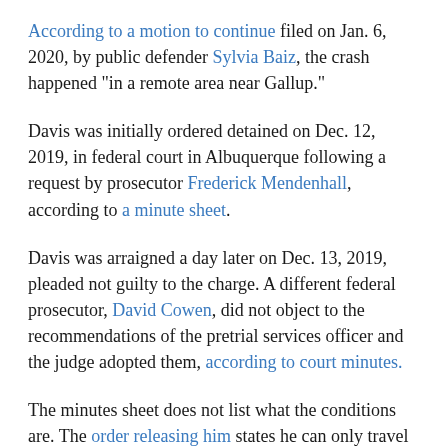According to a motion to continue filed on Jan. 6, 2020, by public defender Sylvia Baiz, the crash happened "in a remote area near Gallup."
Davis was initially ordered detained on Dec. 12, 2019, in federal court in Albuquerque following a request by prosecutor Frederick Mendenhall, according to a minute sheet.
Davis was arraigned a day later on Dec. 13, 2019, pleaded not guilty to the charge. A different federal prosecutor, David Cowen, did not object to the recommendations of the pretrial services officer and the judge adopted them, according to court minutes.
The minutes sheet does not list what the conditions are. The order releasing him states he can only travel in New Mexico, he can talk to his family but not about the case, he